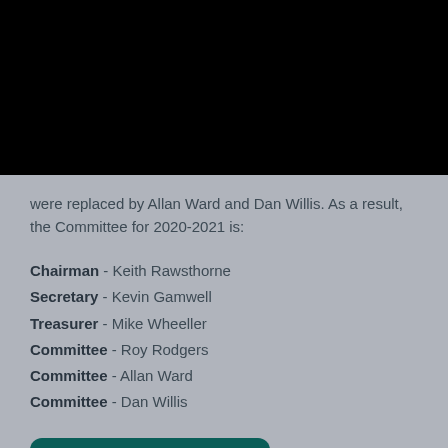[Figure (other): Black rectangle occupying the top portion of the page]
were replaced by Allan Ward and Dan Willis. As a result, the Committee for 2020-2021 is:
Chairman - Keith Rawsthorne
Secretary - Kevin Gamwell
Treasurer - Mike Wheeller
Committee - Roy Rodgers
Committee - Allan Ward
Committee - Dan Willis
Top of page